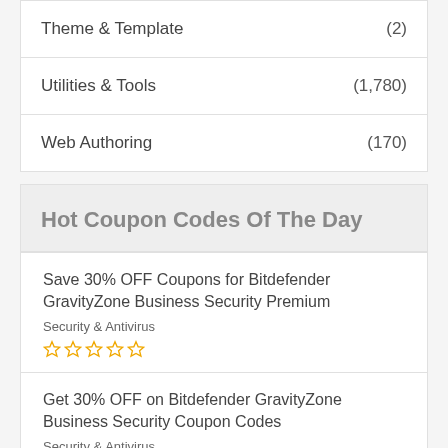Theme & Template (2)
Utilities & Tools (1,780)
Web Authoring (170)
Hot Coupon Codes Of The Day
Save 30% OFF Coupons for Bitdefender GravityZone Business Security Premium
Security & Antivirus
Get 30% OFF on Bitdefender GravityZone Business Security Coupon Codes
Security & Antivirus
Enjoy 30% OFF Bitdefender GravityZone Advanced Business Security Coupon Code